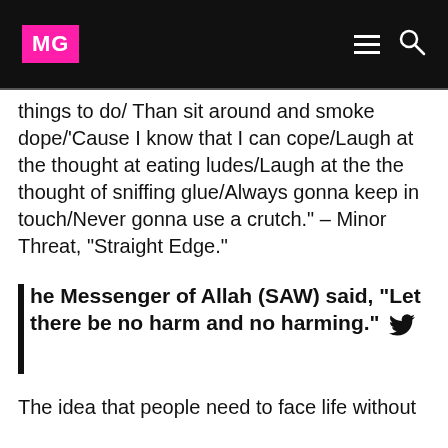MG
things to do/ Than sit around and smoke dope/'Cause I know that I can cope/Laugh at the thought at eating ludes/Laugh at the the thought of sniffing glue/Always gonna keep in touch/Never gonna use a crutch." – Minor Threat, “Straight Edge.”
The Messenger of Allah (SAW) said, “Let there be no harm and no harming.”
The idea that people need to face life without